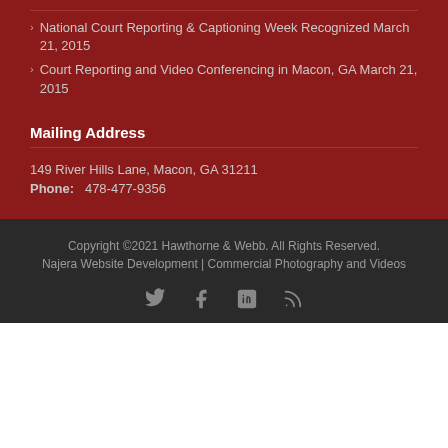National Court Reporting & Captioning Week Recognized March 21, 2015
Court Reporting and Video Conferencing in Macon, GA March 21, 2015
Mailing Address
149 River Hills Lane, Macon, GA 31211
Phone: 478-477-9356
Copyright ©2021 Hawthorne & Webb. All Rights Reserved.
Najera Website Development | Commercial Photography and Videos